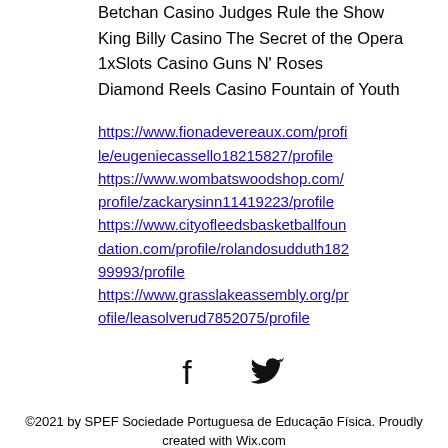Betchan Casino Judges Rule the Show
King Billy Casino The Secret of the Opera
1xSlots Casino Guns N' Roses
Diamond Reels Casino Fountain of Youth
https://www.fionadevereaux.com/profile/eugeniecassello18215827/profile https://www.wombatswoodshop.com/profile/zackarysinn11419223/profile https://www.cityofleedsbasketballfoundation.com/profile/rolandosudduth18299993/profile https://www.grasslakeassembly.org/profile/leasolverud7852075/profile
[Figure (other): Social media icons: Facebook and Twitter]
©2021 by SPEF Sociedade Portuguesa de Educação Física. Proudly created with Wix.com
[Figure (other): Pi symbol (π)]